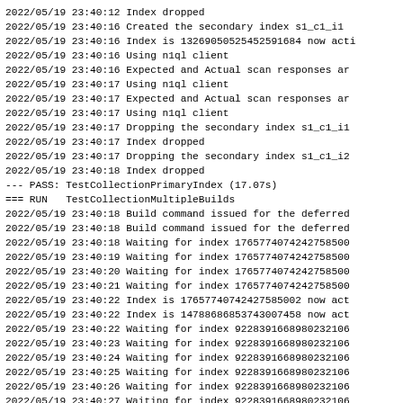2022/05/19 23:40:12 Index dropped
2022/05/19 23:40:16 Created the secondary index s1_c1_i1
2022/05/19 23:40:16 Index is 13269050525452591684 now acti
2022/05/19 23:40:16 Using n1ql client
2022/05/19 23:40:16 Expected and Actual scan responses ar
2022/05/19 23:40:17 Using n1ql client
2022/05/19 23:40:17 Expected and Actual scan responses ar
2022/05/19 23:40:17 Using n1ql client
2022/05/19 23:40:17 Dropping the secondary index s1_c1_i1
2022/05/19 23:40:17 Index dropped
2022/05/19 23:40:17 Dropping the secondary index s1_c1_i2
2022/05/19 23:40:18 Index dropped
--- PASS: TestCollectionPrimaryIndex (17.07s)
=== RUN   TestCollectionMultipleBuilds
2022/05/19 23:40:18 Build command issued for the deferred
2022/05/19 23:40:18 Build command issued for the deferred
2022/05/19 23:40:18 Waiting for index 17657740742427585000
2022/05/19 23:40:19 Waiting for index 17657740742427585000
2022/05/19 23:40:20 Waiting for index 17657740742427585000
2022/05/19 23:40:21 Waiting for index 17657740742427585000
2022/05/19 23:40:22 Index is 17657740742427585002 now acti
2022/05/19 23:40:22 Index is 14788686853743007458 now acti
2022/05/19 23:40:22 Waiting for index 922839166898023210
2022/05/19 23:40:23 Waiting for index 922839166898023210
2022/05/19 23:40:24 Waiting for index 922839166898023210
2022/05/19 23:40:25 Waiting for index 922839166898023210
2022/05/19 23:40:26 Waiting for index 922839166898023210
2022/05/19 23:40:27 Waiting for index 922839166898023210
2022/05/19 23:40:28 Waiting for index 922839166898023210
2022/05/19 23:40:29 Waiting for index 922839166898023210